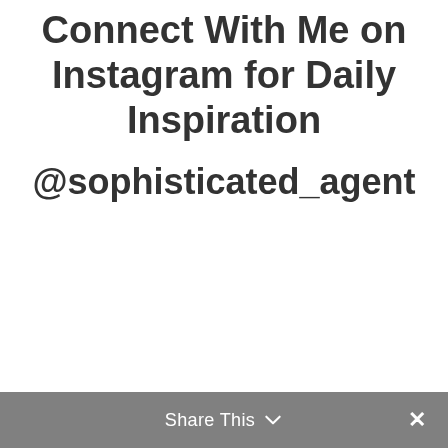Connect With Me on Instagram for Daily Inspiration
@sophisticated_agent
Share This ✓ ✕